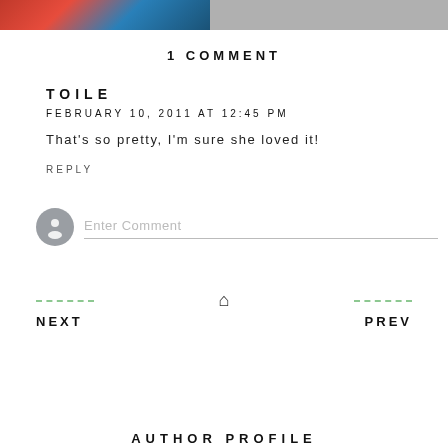[Figure (photo): Top banner with two images: left side showing colorful red/blue object, right side gray image]
1 COMMENT
TOILE
FEBRUARY 10, 2011 AT 12:45 PM
That's so pretty, I'm sure she loved it!
REPLY
[Figure (illustration): User avatar circle with person silhouette and Enter Comment input field]
NEXT
PREV
AUTHOR PROFILE